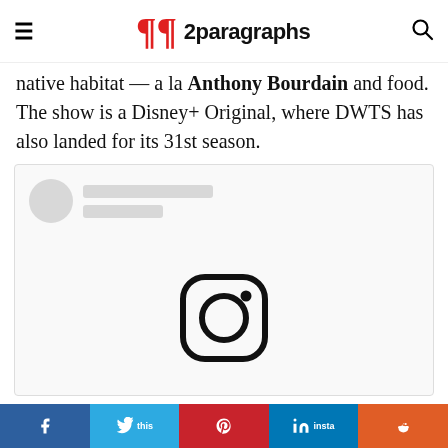2paragraphs
native habitat — a la Anthony Bourdain and food. The show is a Disney+ Original, where DWTS has also landed for its 31st season.
[Figure (screenshot): Embedded Instagram post placeholder with circle avatar, placeholder lines, and Instagram logo icon centered in the embed box.]
Share buttons: Facebook, Twitter, Pinterest, LinkedIn, Reddit